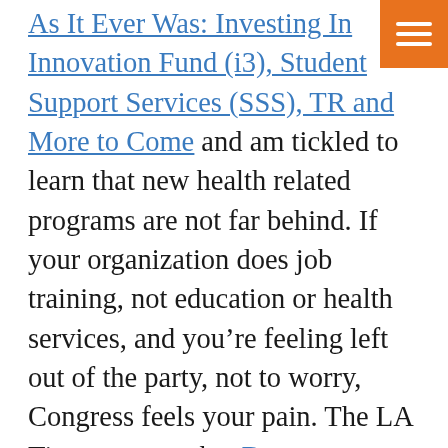As It Ever Was: Investing In Innovation Fund (i3), Student Support Services (SSS), TR and More to Come and am tickled to learn that new health related programs are not far behind. If your organization does job training, not education or health services, and you're feeling left out of the party, not to worry, Congress feels your pain. The LA Times reports that Democrats Work On Multibillion-dollar Jobs Package, so your time is nigh.

I'm hoping for a resurrection of the Nixon-er Comprehensive Employment and